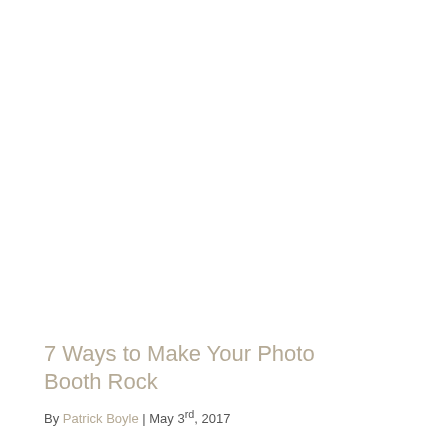7 Ways to Make Your Photo Booth Rock
By Patrick Boyle | May 3rd, 2017